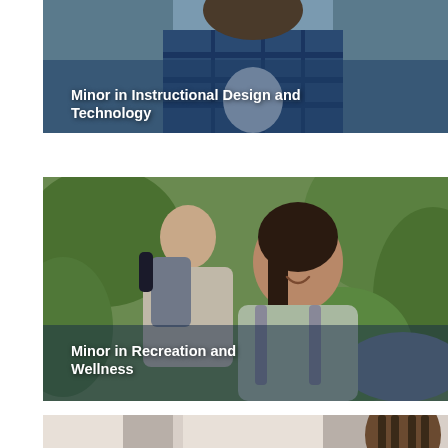[Figure (photo): Partially visible photo of a person in a blue plaid shirt, with a semi-transparent dark blue overlay at the bottom showing the text 'Minor in Instructional Design and Technology' in white bold text.]
[Figure (photo): Photo of two people hiking outdoors, smiling, with backpacks, in a lush green environment. Overlay text at bottom reads 'Minor in Recreation and Wellness' in white bold text.]
[Figure (photo): Partially visible photo at the bottom of the page, showing a person with braided hair in what appears to be an indoor setting.]